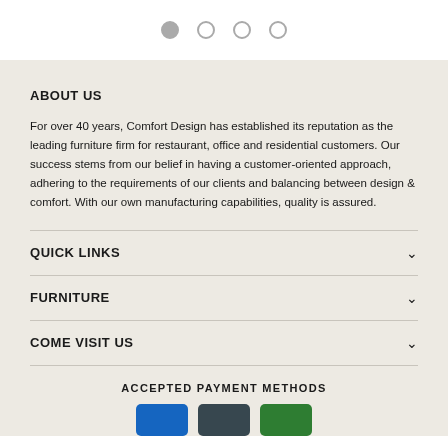[Figure (other): Carousel pagination dots — one filled circle and three empty circles]
ABOUT US
For over 40 years, Comfort Design has established its reputation as the leading furniture firm for restaurant, office and residential customers. Our success stems from our belief in having a customer-oriented approach, adhering to the requirements of our clients and balancing between design & comfort. With our own manufacturing capabilities, quality is assured.
QUICK LINKS
FURNITURE
COME VISIT US
ACCEPTED PAYMENT METHODS
[Figure (other): Three payment method icons: blue, dark/navy, and green rectangular badges]